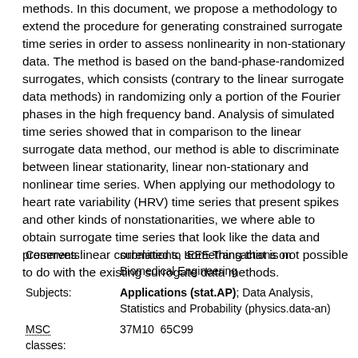methods. In this document, we propose a methodology to extend the procedure for generating constrained surrogate time series in order to assess nonlinearity in non-stationary data. The method is based on the band-phase-randomized surrogates, which consists (contrary to the linear surrogate data methods) in randomizing only a portion of the Fourier phases in the high frequency band. Analysis of simulated time series showed that in comparison to the linear surrogate data method, our method is able to discriminate between linear stationarity, linear non-stationary and nonlinear time series. When applying our methodology to heart rate variability (HRV) time series that present spikes and other kinds of nonstationarities, we where able to obtain surrogate time series that look like the data and preserves linear correlations, something that is not possible to do with the existing surrogate data methods.
| Field | Value |
| --- | --- |
| Comments: | submitted to IEEE Transactions on Biomedical Engineering |
| Subjects: | Applications (stat.AP); Data Analysis, Statistics and Probability (physics.data-an) |
| MSC classes: | 37M10  65C99 |
| Cite as: | arXiv:1101.6063 [stat.AP]
(or arXiv:1101.6063v1 [stat.AP] for this version)
https://doi.org/10.48550/arXiv.1101.6063 |